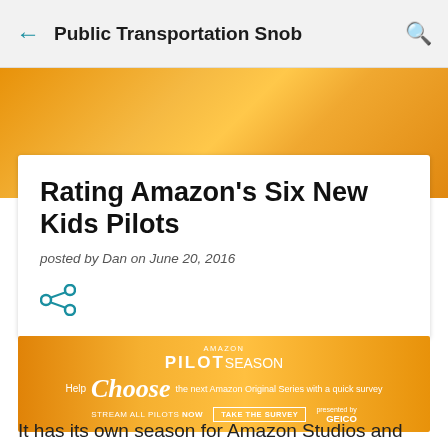Public Transportation Snob
[Figure (illustration): Orange gradient hero banner background at top of article page]
Rating Amazon's Six New Kids Pilots
posted by Dan on June 20, 2016
[Figure (illustration): Share icon (less-than symbol style share button)]
[Figure (illustration): Amazon Pilot Season advertisement banner — orange background with text: amazon PILOT season. Help Choose the next Amazon Original Series with a quick survey. STREAM ALL PILOTS NOW | TAKE THE SURVEY. Presented by GEICO.]
It has its own season for Amazon Studios and